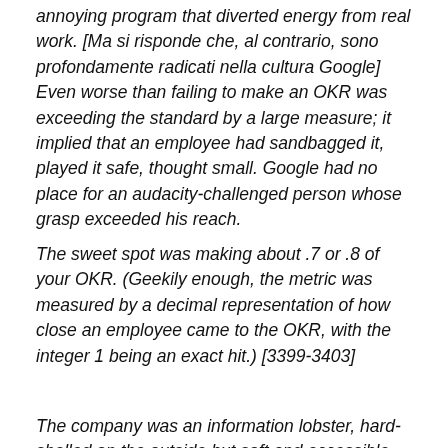annoying program that diverted energy from real work. [Ma si risponde che, al contrario, sono profondamente radicati nella cultura Google] Even worse than failing to make an OKR was exceeding the standard by a large measure; it implied that an employee had sandbagged it, played it safe, thought small. Google had no place for an audacity-challenged person whose grasp exceeded his reach.
The sweet spot was making about .7 or .8 of your OKR. (Geekily enough, the metric was measured by a decimal representation of how close an employee came to the OKR, with the integer 1 being an exact hit.) [3399-3403]
The company was an information lobster, hard-shelled on the outside but soft and accessible on the inside. [3423]
Even though storage was increasingly inexpensive, the